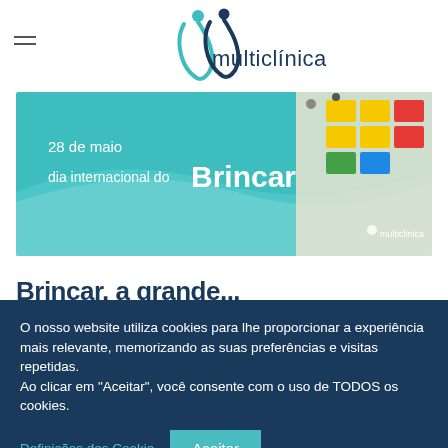[Figure (logo): Multiclinica logo with teal and dark blue arching figures and wordmark 'multiclínica']
[Figure (illustration): Banner image: teal background with '28 de maio dia internacional do Brincar' text in white, with toy blocks photo on the right and Multiclinica logo]
Brincar, a grande...
O nosso website utiliza cookies para lhe proporcionar a experiência mais relevante, memorizando as suas preferências e visitas repetidas.
Ao clicar em "Aceitar", você consente com o uso de TODOS os cookies.
Definições dos Cookie
Aceitar